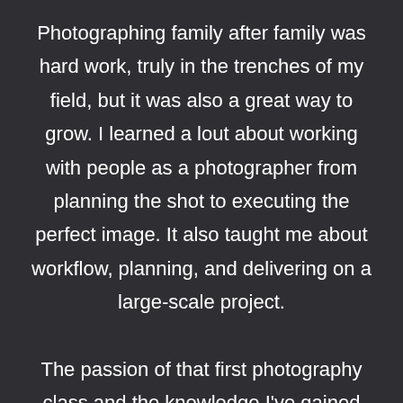Photographing family after family was hard work, truly in the trenches of my field, but it was also a great way to grow. I learned a lout about working with people as a photographer from planning the shot to executing the perfect image. It also taught me about workflow, planning, and delivering on a large-scale project.

The passion of that first photography class and the knowledge I've gained over the years